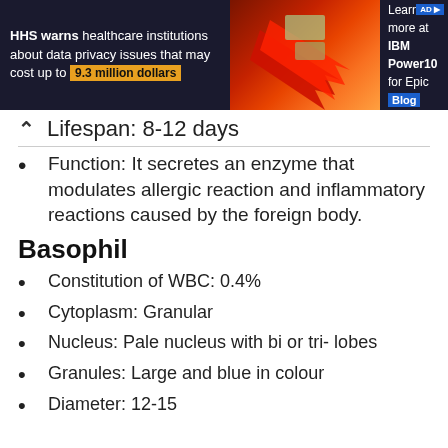[Figure (other): Advertisement banner: HHS warns healthcare institutions about data privacy issues that may cost up to 9.3 million dollars. IBM Power10 for Epic Blog ad on the right.]
Lifespan: 8-12 days
Function: It secretes an enzyme that modulates allergic reaction and inflammatory reactions caused by the foreign body.
Basophil
Constitution of WBC: 0.4%
Cytoplasm: Granular
Nucleus: Pale nucleus with bi or tri- lobes
Granules: Large and blue in colour
Diameter: 12-15